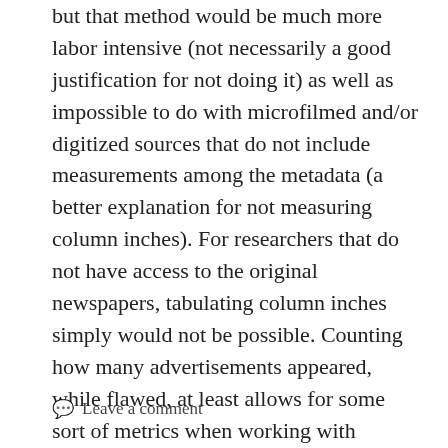but that method would be much more labor intensive (not necessarily a good justification for not doing it) as well as impossible to do with microfilmed and/or digitized sources that do not include measurements among the metadata (a better explanation for not measuring column inches). For researchers that do not have access to the original newspapers, tabulating column inches simply would not be possible. Counting how many advertisements appeared, while flawed, at least allows for some sort of metrics when working with surrogates rather than original sources.
Leave a comment